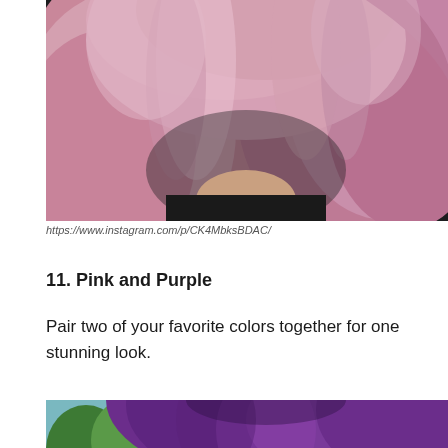[Figure (photo): Close-up photo of a person with voluminous pink/mauve wavy hair wearing a black top, photographed against a dark background.]
https://www.instagram.com/p/CK4MbksBDAC/
11. Pink and Purple
Pair two of your favorite colors together for one stunning look.
[Figure (photo): Photo of a person with long purple/violet hair, with a green plant visible in the background.]